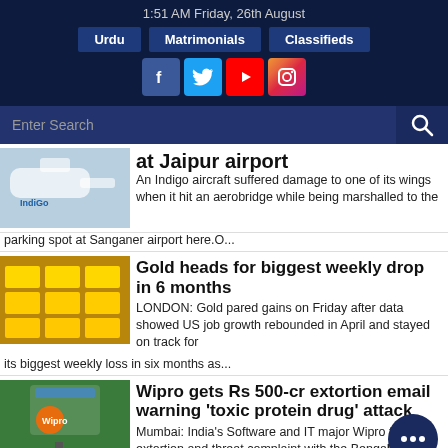1:51 AM Friday, 26th August
Urdu | Matrimonials | Classifieds
[Figure (infographic): Social media icons: Facebook, Twitter, YouTube, Instagram]
Enter Search
at Jaipur airport - An Indigo aircraft suffered damage to one of its wings when it hit an aerobridge while being marshalled to the parking spot at Sanganer airport here.O...
Gold heads for biggest weekly drop in 6 months
LONDON: Gold pared gains on Friday after data showed US job growth rebounded in April and stayed on track for its biggest weekly loss in six months as...
Wipro gets Rs 500-cr extortion email warning 'toxic protein drug' attack
Mumbai: India's Software and IT major Wipro filed an extortion and threat complaint with the Bengala...